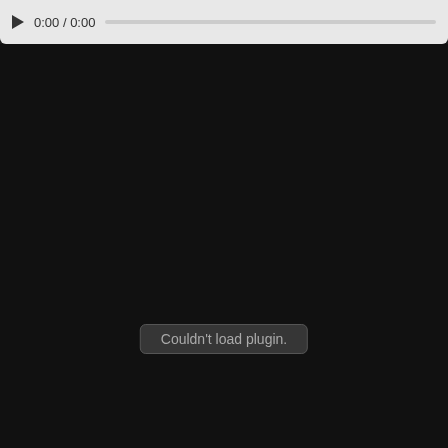[Figure (other): Audio player bar with play button, time display 0:00 / 0:00, and progress bar on light gray background]
[Figure (other): Dark black area with plugin error message 'Couldn't load plugin.' in a rounded gray box]
Download
zapoper at 8/16/2019 10:49:00 AM   No comments:
Share
Jeff Bense Radio Show - 2019.08.15